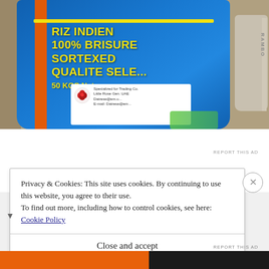[Figure (photo): A blue rice bag with yellow text reading 'RIZ INDIEN 100% BRISURE SORTEXED QUALITE SELE... 50 KGS' with an orange vertical stripe and a white label showing 'Little Rose General Trading Co. UAE' with a rose logo. The bag sits on sandy ground next to another white/grey bag.]
REPORT THIS AD
Privacy & Cookies: This site uses cookies. By continuing to use this website, you agree to their use.
To find out more, including how to control cookies, see here: Cookie Policy
Close and accept
REPORT THIS AD